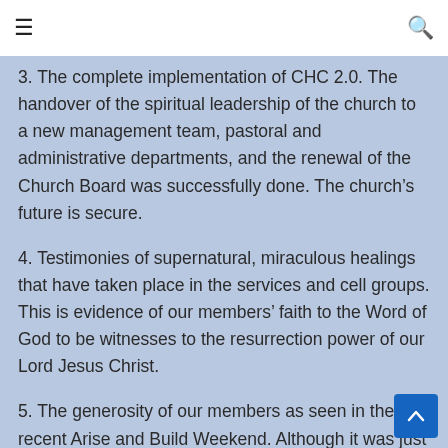☰  🔍
3. The complete implementation of CHC 2.0. The handover of the spiritual leadership of the church to a new management team, pastoral and administrative departments, and the renewal of the Church Board was successfully done. The church's future is secure.
4. Testimonies of supernatural, miraculous healings that have taken place in the services and cell groups. This is evidence of our members' faith to the Word of God to be witnesses to the resurrection power of our Lord Jesus Christ.
5. The generosity of our members as seen in the recent Arise and Build Weekend. Although it was just over one weekend, our members' giving far exceeded…